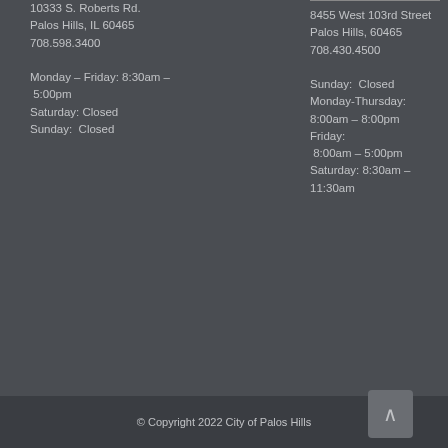10333 S. Roberts Rd.
Palos Hills, IL 60465
708.598.3400

Monday – Friday: 8:30am – 5:00pm
Saturday: Closed
Sunday: Closed
8455 West 103rd Street
Palos Hills, 60465
708.430.4500

Sunday: Closed
Monday-Thursday: 8:00am – 8:00pm
Friday: 8:00am – 5:00pm
Saturday: 8:30am – 11:30am
© Copyright 2022 City of Palos Hills